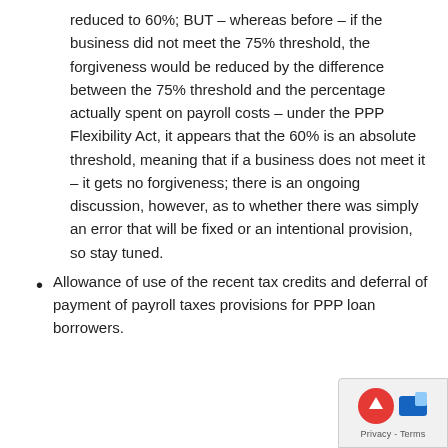reduced to 60%; BUT – whereas before – if the business did not meet the 75% threshold, the forgiveness would be reduced by the difference between the 75% threshold and the percentage actually spent on payroll costs – under the PPP Flexibility Act, it appears that the 60% is an absolute threshold, meaning that if a business does not meet it – it gets no forgiveness; there is an ongoing discussion, however, as to whether there was simply an error that will be fixed or an intentional provision, so stay tuned.
Allowance of use of the recent tax credits and deferral of payment of payroll taxes provisions for PPP loan borrowers.